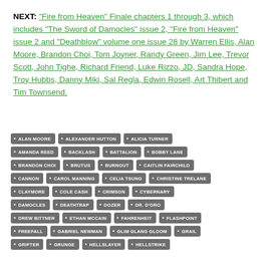NEXT: "Fire from Heaven" Finale chapters 1 through 3, which includes "The Sword of Damocles" issue 2, "Fire from Heaven" issue 2 and "Deathblow" volume one issue 28 by Warren Ellis, Alan Moore, Brandon Choi, Tom Joyner, Randy Green, Jim Lee, Trevor Scott, John Tighe, Richard Friend, Luke Rizzo, JD, Sandra Hope, Troy Hubbs, Danny Miki, Sal Regla, Edwin Rosell, Art Thibert and Tim Townsend.
ALAN MOORE
ALEXANDER HUTTON
ALICIA TURNER
AMANDA REED
BACKLASH
BATTALION
BOBBY LANE
BRANDON CHOI
BRUTUS
BURNOUT
CAITLIN FAIRCHILD
CANNON
CAROL MANNING
CELIA TSUNG
CHRISTINE TRELANE
CLAYMORE
COLE CASH
CRIMSON
CYBERNARY
DAMOCLES
DEATHTRAP
DOZER
DR. D'ORO
DREW BITTNER
ETHAN MCCAIN
FAHRENHEIT
FLASHPOINT
FREEFALL
GABRIEL NEWMAN
GLIM GLANG GLOOM
GRAIL
GRIFTER
GRUNGE
HELLSLAYER
HELLSTRIKE